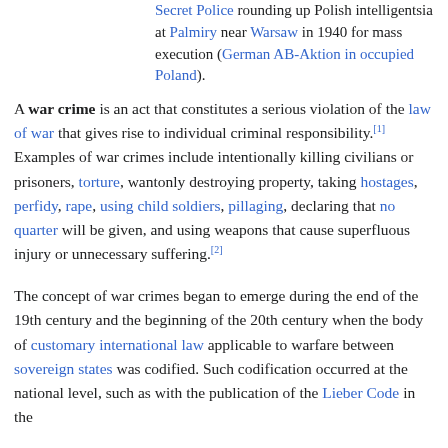Secret Police rounding up Polish intelligentsia at Palmiry near Warsaw in 1940 for mass execution (German AB-Aktion in occupied Poland).
A war crime is an act that constitutes a serious violation of the law of war that gives rise to individual criminal responsibility.[1] Examples of war crimes include intentionally killing civilians or prisoners, torture, wantonly destroying property, taking hostages, perfidy, rape, using child soldiers, pillaging, declaring that no quarter will be given, and using weapons that cause superfluous injury or unnecessary suffering.[2]
The concept of war crimes began to emerge during the end of the 19th century and the beginning of the 20th century when the body of customary international law applicable to warfare between sovereign states was codified. Such codification occurred at the national level, such as with the publication of the Lieber Code in the